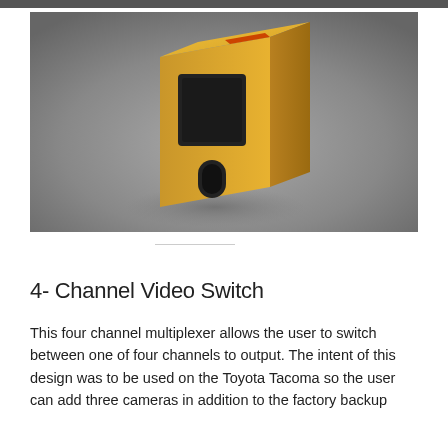[Figure (illustration): 3D rendering of a yellow rectangular 4-channel video switch device on a gray gradient background. The device has a black rectangular recess on the front face and a black oval slot below it, with an orange accent on top.]
4- Channel Video Switch
This four channel multiplexer allows the user to switch between one of four channels to output. The intent of this design was to be used on the Toyota Tacoma so the user can add three cameras in addition to the factory backup